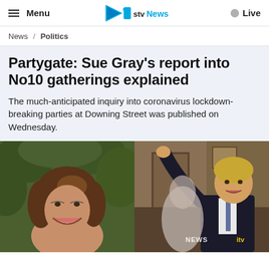Menu | STV News | Live
News / Politics
Partygate: Sue Gray's report into No10 gatherings explained
The much-anticipated inquiry into coronavirus lockdown-breaking parties at Downing Street was published on Wednesday.
[Figure (photo): Split image: left side shows a smiling woman with brown hair (Sue Gray) against a green leafy background; right side shows a man in a dark suit gesturing with his arm raised (Boris Johnson) in an indoor setting, with ITV News watermarks visible.]